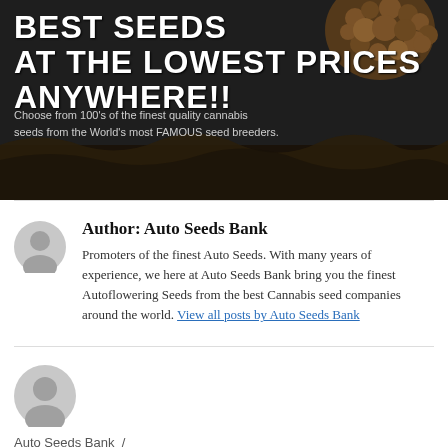[Figure (photo): Banner advertisement for cannabis seeds with dark background, large white bold text reading 'BEST SEEDS AT THE LOWEST PRICES ANYWHERE!!', descriptive text below, and cannabis seeds image on the right with dirt/soil texture at the bottom.]
Author: Auto Seeds Bank
Promoters of the finest Auto Seeds. With many years of experience, we here at Auto Seeds Bank bring you the finest Autoflowering Seeds from the best Cannabis seed companies around the world. View all posts by Auto Seeds Bank
[Figure (photo): Grey avatar/profile icon placeholder image]
Auto Seeds Bank  /